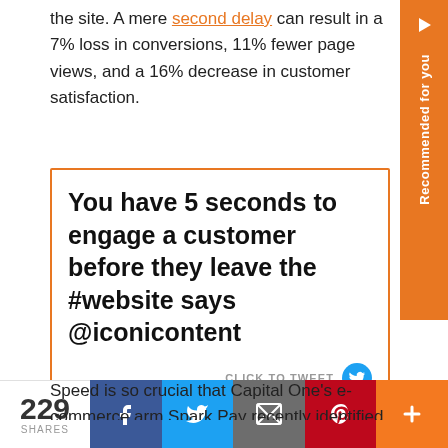the site. A mere second delay can result in a 7% loss in conversions, 11% fewer page views, and a 16% decrease in customer satisfaction.
[Figure (other): Click-to-tweet box with bold text: 'You have 5 seconds to engage a customer before they leave the #website says @iconicontent' with a Twitter bird icon and 'CLICK TO TWEET' label]
Speed is so crucial that Capital One's e-commerce arm Spark Pay recently identified it as the No. 1 thing to learn from the e-commerce giants like Amazon, eBay, Zappos, and Walmart.
[Figure (infographic): Share bar at bottom with 229 shares count, Facebook, Twitter, Email, Pinterest, and More buttons]